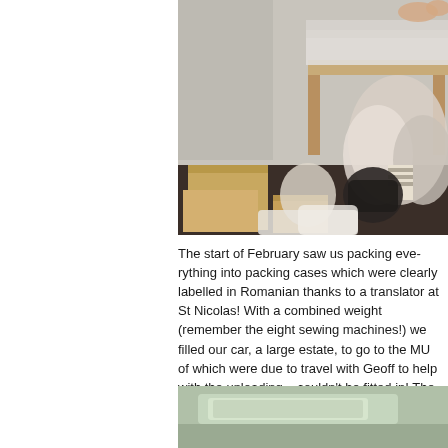[Figure (photo): Indoor photo showing a room filled with piles of clothing, bags, and cardboard boxes stacked on the floor and furniture, apparently donations being sorted for packing.]
The start of February saw us packing everything into packing cases which were clearly labelled in Romanian thanks to a translator at St Nicolas! With a combined weight (remember the eight sewing machines!) we filled our car, a large estate, to go to the MU of which were due to travel with Geoff to help with the unloading – couldn't be fitted in! The front passenger seat was full of boxes!
[Figure (photo): Photo showing the interior of a car packed with boxes visible through the windscreen and window.]